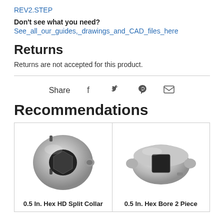REV2.STEP
Don't see what you need?
See_all_our_guides,_drawings_and_CAD_files_here
Returns
Returns are not accepted for this product.
Share
Recommendations
[Figure (photo): 0.5 In. Hex HD Split Collar - metallic silver split collar with hex bore]
0.5 In. Hex HD Split Collar
[Figure (photo): 0.5 In. Hex Bore 2 Piece collar - metallic silver two piece collar with square/hex bore]
0.5 In. Hex Bore 2 Piece